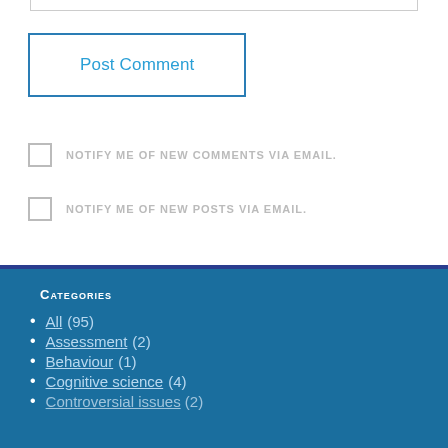Post Comment
NOTIFY ME OF NEW COMMENTS VIA EMAIL.
NOTIFY ME OF NEW POSTS VIA EMAIL.
Categories
All (95)
Assessment (2)
Behaviour (1)
Cognitive science (4)
Controversial issues (2)